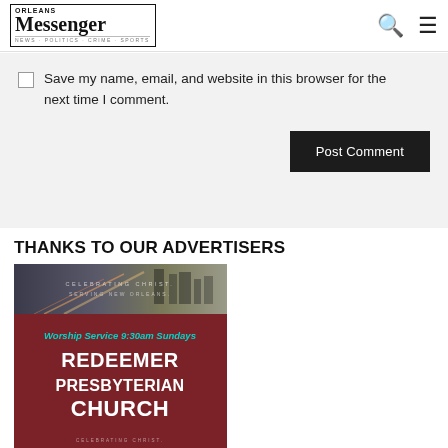Messenger | Search | Menu
Save my name, email, and website in this browser for the next time I comment.
THANKS TO OUR ADVERTISERS
[Figure (photo): Advertisement for Redeemer Presbyterian Church. Dark red background with city street photo at top. Text reads: CELEBRATING CHRIST. SERVING NEW ORLEANS. Worship Service 9:30am Sundays. REDEEMER PRESBYTERIAN CHURCH. CELEBRATING CHRIST.]